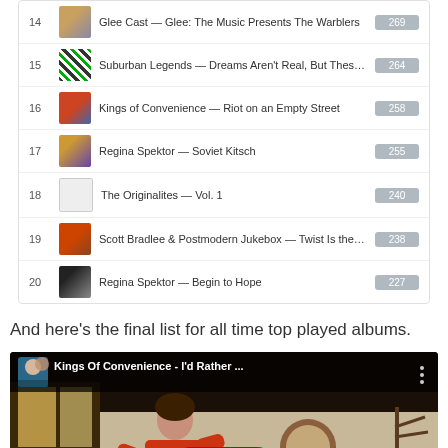| # | Album | Plays |
| --- | --- | --- |
| 14 | Glee Cast — Glee: The Music Presents The Warblers | 269 |
| 15 | Suburban Legends — Dreams Aren't Real, But These So... | 264 |
| 16 | Kings of Convenience — Riot on an Empty Street | 258 |
| 17 | Regina Spektor — Soviet Kitsch | 255 |
| 18 | The Originalites — Vol. 1 | 240 |
| 19 | Scott Bradlee & Postmodern Jukebox — Twist Is the No... | 238 |
| 20 | Regina Spektor — Begin to Hope | 227 |
And here's the final list for all time top played albums.
[Figure (screenshot): YouTube video thumbnail for Kings Of Convenience - I'd Rather ... with play button overlay]